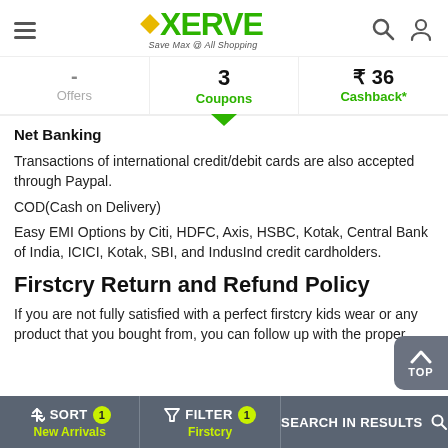[Figure (logo): XERVE logo with tagline 'Save Max @ All Shopping', hamburger menu icon, search icon, and user icon in header]
| Offers | Coupons | Cashback* |
| --- | --- | --- |
| - | 3 | ₹ 36 |
Net Banking
Transactions of international credit/debit cards are also accepted through Paypal.
COD(Cash on Delivery)
Easy EMI Options by Citi, HDFC, Axis, HSBC, Kotak, Central Bank of India, ICICI, Kotak, SBI, and IndusInd credit cardholders.
Firstcry Return and Refund Policy
If you are not fully satisfied with a perfect firstcry kids wear or any product that you bought from, you can follow up with the proper
SORT New Arrivals | FILTER Firstcry | SEARCH IN RESULTS